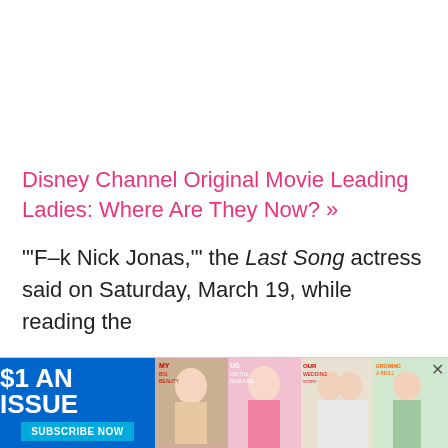Disney Channel Original Movie Leading Ladies: Where Are They Now? »
"'F–k Nick Jonas,'" the Last Song actress said on Saturday, March 19, while reading the
[Figure (infographic): Advertisement banner: '$1 AN ISSUE' with subscribe now button in blue, alongside magazine cover images]